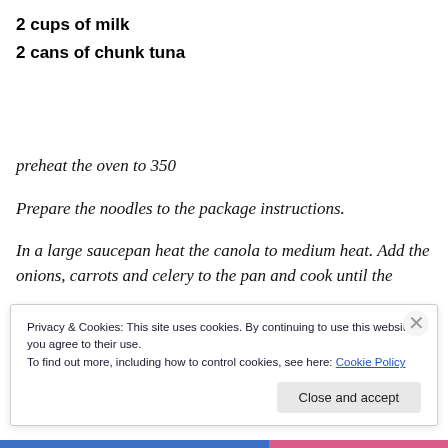2 cups of milk
2 cans of chunk tuna
preheat the oven to 350
Prepare the noodles to the package instructions.
In a large saucepan heat the canola to medium heat. Add the onions, carrots and celery to the pan and cook until the
Privacy & Cookies: This site uses cookies. By continuing to use this website, you agree to their use.
To find out more, including how to control cookies, see here: Cookie Policy
Close and accept